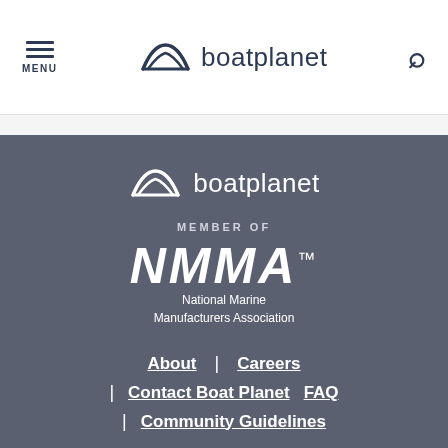MENU | boatplanet | search
[Figure (logo): boatplanet logo in footer with NMMA member badge]
MEMBER OF
NMMA™ National Marine Manufacturers Association
About | Careers | Contact Boat Planet | FAQ | Community Guidelines